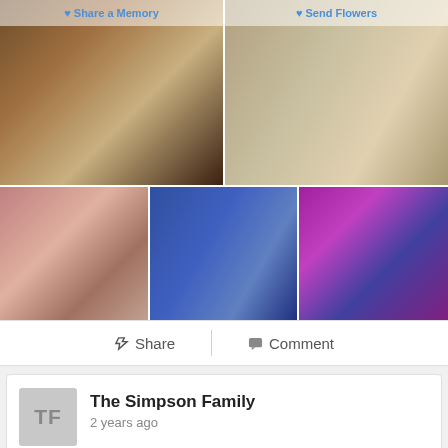[Figure (photo): Two-photo collage at top: left photo shows a woman with glasses holding a toddler with an open mouth smile, vintage photo warm tones; right photo shows an elderly person seated with a baby and a woman in red/white outfit, vintage photo]
[Figure (photo): Three photos in a row: left shows two women/girls at Christmas in pink-red tones; center shows a woman with glasses and a young girl in blue tones; right shows a person leaning over in colorful setting]
Share  Comment
The Simpson Family
2 years ago
The Simpson Family purchased the Sweet Tranquility Basket for the family of Alice Faye Roberts.
[Figure (photo): Flower basket arrangement with colorful mixed flowers in a wicker basket]